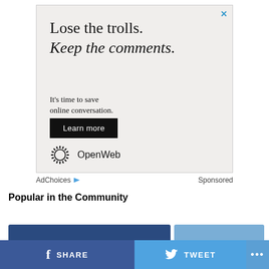[Figure (other): Advertisement banner for OpenWeb. Headline: 'Lose the trolls. Keep the comments.' Body text: 'It’s time to save online conversation.' Button: 'Learn more'. Logo: OpenWeb with sunburst icon. Close button (X) in top right corner.]
AdChoices ▶  Sponsored
Popular in the Community
[Figure (other): Community content thumbnails strip - two preview image blocks]
[Figure (other): Social sharing bar with Facebook SHARE, Twitter TWEET, and more (...) buttons]